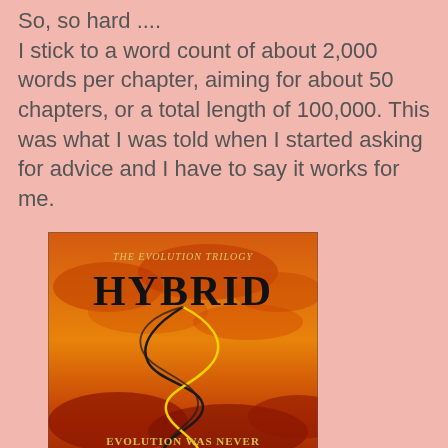So, so hard ....
I stick to a word count of about 2,000 words per chapter, aiming for about 50 chapters, or a total length of 100,000. This was what I was told when I started asking for advice and I have to say it works for me.
[Figure (illustration): Book cover for 'Hybrid' from The Evolution Trilogy. Features a dramatic orange and red sunset sky with swirling black and yellow lines. Text reads 'THE EVOLUTION TRILOGY' at top, 'HYBRID' as main title in large black serif font, and 'EVOLUTION WAS NEVER MEANT TO BE EASY...' at the bottom.]